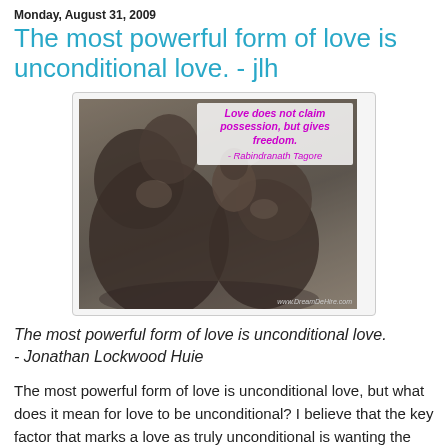Monday, August 31, 2009
The most powerful form of love is unconditional love. - jlh
[Figure (photo): Bronze sculpture of abstract human figures with an overlaid quote: 'Love does not claim possession, but gives freedom. - Rabindranath Tagore' in pink/purple italic text on a light background. Watermark: www.DreamDeHire.com]
The most powerful form of love is unconditional love.
- Jonathan Lockwood Huie
The most powerful form of love is unconditional love, but what does it mean for love to be unconditional? I believe that the key factor that marks a love as truly unconditional is wanting the best for someone, whether or not their happiness includes you. Few loves can stand this rigorous test. Most loves are, at least in part,